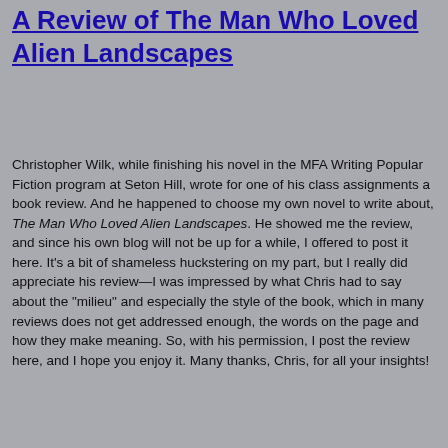A Review of The Man Who Loved Alien Landscapes
Christopher Wilk, while finishing his novel in the MFA Writing Popular Fiction program at Seton Hill, wrote for one of his class assignments a book review.  And he happened to choose my own novel to write about, The Man Who Loved Alien Landscapes.  He showed me the review, and since his own blog will not be up for a while, I offered to post it here.  It's a bit of shameless huckstering on my part, but I really did appreciate his review—I was impressed by what Chris had to say about the "milieu" and especially the style of the book, which in many reviews does not get addressed enough, the words on the page and how they make meaning.  So, with his permission, I post the review here, and I hope you enjoy it.  Many thanks, Chris, for all your insights!